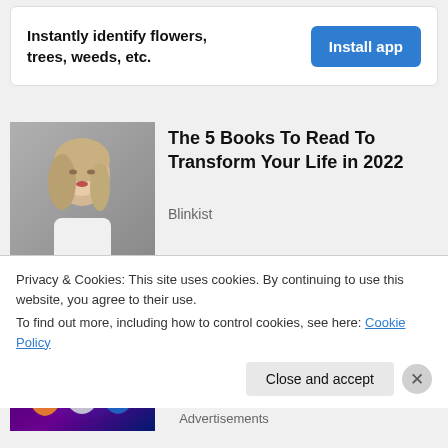[Figure (infographic): Ad banner with text 'Instantly identify flowers, trees, weeds, etc.' and a blue 'Install app' button]
[Figure (photo): Photo of a blonde woman in white outfit, used as thumbnail for article]
The 5 Books To Read To Transform Your Life in 2022
Blinkist
[Figure (screenshot): Marvel Strike Force game promotional image used as article thumbnail]
iPhone owners are obsessed with this Marvel game
Privacy & Cookies: This site uses cookies. By continuing to use this website, you agree to their use.
To find out more, including how to control cookies, see here: Cookie Policy
Close and accept
Advertisements